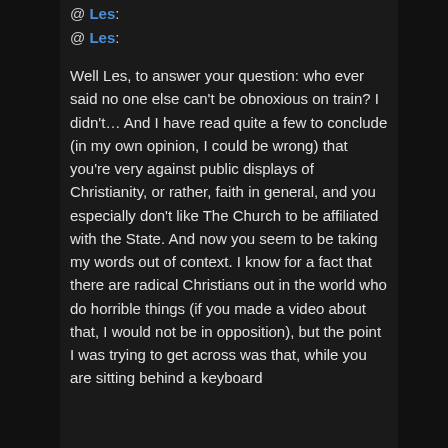@ Les:
@ Les:
Well Les, to answer your question: who ever said no one else can't be obnoxious on train? I didn't… And I have read quite a few to conclude (in my own opinion, I could be wrong) that you're very against public displays of Christianity, or rather, faith in general, and you especially don't like The Church to be affiliated with the State. And now you seem to be taking my words out of context. I know for a fact that there are radical Christians out in the world who do horrible things (if you made a video about that, I would not be in opposition), but the point I was trying to get across was that, while you are sitting behind a keyboard